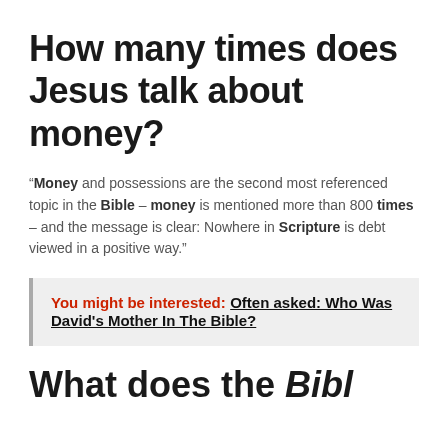How many times does Jesus talk about money?
“Money and possessions are the second most referenced topic in the Bible – money is mentioned more than 800 times – and the message is clear: Nowhere in Scripture is debt viewed in a positive way.”
You might be interested: Often asked: Who Was David’s Mother In The Bible?
What does the Bible